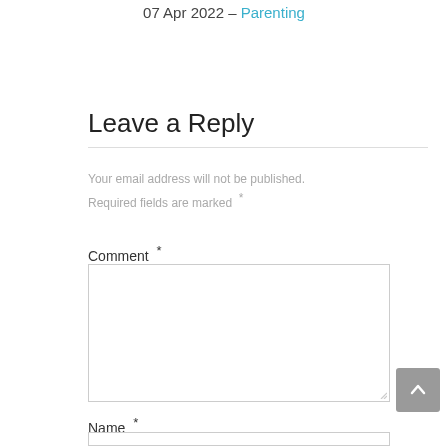07 Apr 2022 – Parenting
Leave a Reply
Your email address will not be published. Required fields are marked  *
Comment *
Name *